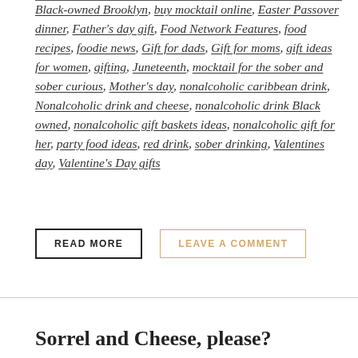Black-owned Brooklyn, buy mocktail online, Easter Passover dinner, Father's day gift, Food Network Features, food recipes, foodie news, Gift for dads, Gift for moms, gift ideas for women, gifting, Juneteenth, mocktail for the sober and sober curious, Mother's day, nonalcoholic caribbean drink, Nonalcoholic drink and cheese, nonalcoholic drink Black owned, nonalcoholic gift baskets ideas, nonalcoholic gift for her, party food ideas, red drink, sober drinking, Valentines day, Valentine's Day gifts
READ MORE
LEAVE A COMMENT
Sorrel and Cheese, please?